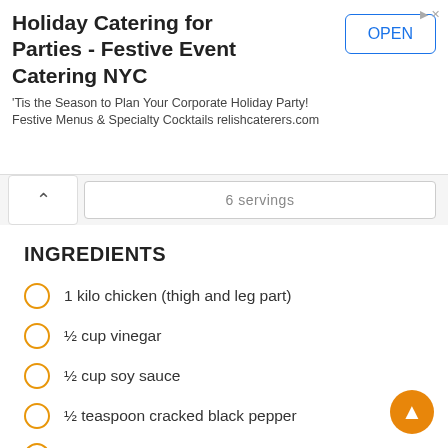[Figure (screenshot): Advertisement banner: Holiday Catering for Parties - Festive Event Catering NYC with OPEN button and subtitle text]
'Tis the Season to Plan Your Corporate Holiday Party! Festive Menus & Specialty Cocktails relishcaterers.com
1 kilo chicken (thigh and leg part)
½ cup vinegar
½ cup soy sauce
½ teaspoon cracked black pepper
marble potatoes (optional)
7 cloves of garlic, minced
1 medium-sized onion, chopped